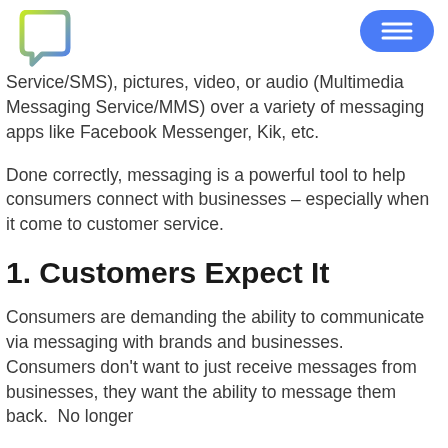Logo and navigation menu
Service/SMS), pictures, video, or audio (Multimedia Messaging Service/MMS) over a variety of messaging apps like Facebook Messenger, Kik, etc.
Done correctly, messaging is a powerful tool to help consumers connect with businesses – especially when it come to customer service.
1. Customers Expect It
Consumers are demanding the ability to communicate via messaging with brands and businesses. Consumers don't want to just receive messages from businesses, they want the ability to message them back. No longer